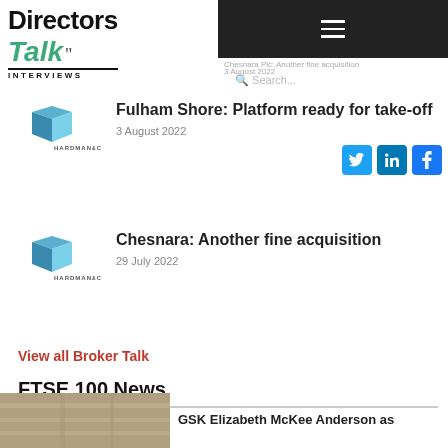Directors Talk Interviews
Chesnara Plc: Another fine acquisition | 3 August 2022 | Search...
Fulham Shore: Platform ready for take-off
3 August 2022
Chesnara: Another fine acquisition
29 July 2022
View all Broker Talk
FTSE 100 News
GSK Elizabeth McKee Anderson as